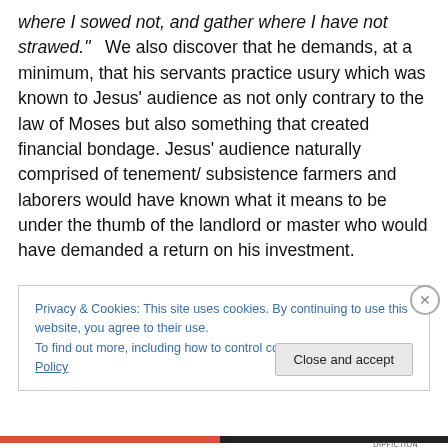where I sowed not, and gather where I have not strawed."   We also discover that he demands, at a minimum, that his servants practice usury which was known to Jesus' audience as not only contrary to the law of Moses but also something that created financial bondage. Jesus' audience naturally comprised of tenement/ subsistence farmers and laborers would have known what it means to be under the thumb of the landlord or master who would have demanded a return on his investment.
Privacy & Cookies: This site uses cookies. By continuing to use this website, you agree to their use. To find out more, including how to control cookies, see here: Cookie Policy